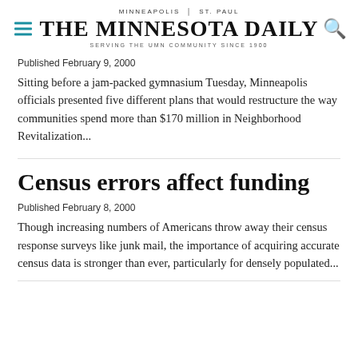MINNEAPOLIS | ST. PAUL
THE MINNESOTA DAILY
SERVING THE UMN COMMUNITY SINCE 1900
Published February 9, 2000
Sitting before a jam-packed gymnasium Tuesday, Minneapolis officials presented five different plans that would restructure the way communities spend more than $170 million in Neighborhood Revitalization...
Census errors affect funding
Published February 8, 2000
Though increasing numbers of Americans throw away their census response surveys like junk mail, the importance of acquiring accurate census data is stronger than ever, particularly for densely populated...